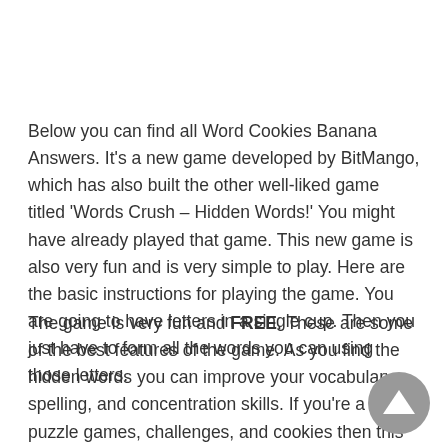Below you can find all Word Cookies Banana Answers. It's a new game developed by BitMango, which has also built the other well-liked game titled 'Words Crush – Hidden Words!' You might have already played that game. This new game is also very fun and is very simple to play. Here are the basic instructions for playing the game. You are going to have letters in a single cup. Then you just have to form all the words you can using those letters.
The game is very fun and FREE. These are some of the best features of the game. As you find the hidden words you can improve your vocabulary, spelling, and concentration skills. If you're a fan of puzzle games, challenges, and cookies then this is the perfect game for